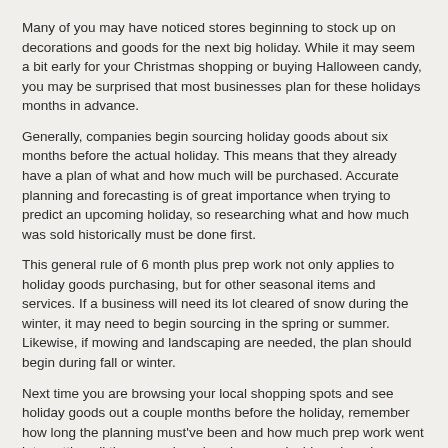Many of you may have noticed stores beginning to stock up on decorations and goods for the next big holiday. While it may seem a bit early for your Christmas shopping or buying Halloween candy, you may be surprised that most businesses plan for these holidays months in advance.
Generally, companies begin sourcing holiday goods about six months before the actual holiday. This means that they already have a plan of what and how much will be purchased. Accurate planning and forecasting is of great importance when trying to predict an upcoming holiday, so researching what and how much was sold historically must be done first.
This general rule of 6 month plus prep work not only applies to holiday goods purchasing, but for other seasonal items and services. If a business will need its lot cleared of snow during the winter, it may need to begin sourcing in the spring or summer. Likewise, if mowing and landscaping are needed, the plan should begin during fall or winter.
Next time you are browsing your local shopping spots and see holiday goods out a couple months before the holiday, remember how long the planning must've been and how much prep work went into getting all those goods ordered, sourced, shipped, and displayed.
For more information on SafeSourcing can help with your holiday or seasonal sourcing needs, or on our Risk Free trial program, please contact a SafeSourcing Customer Service representative. We have an entire team ready to assist you today.